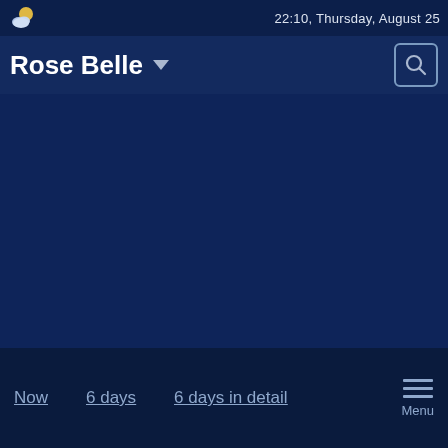22:10, Thursday, August 25
Rose Belle
[Figure (screenshot): Main dark blue content area of a weather app showing no weather data loaded]
Now  6 days  6 days in detail  Menu